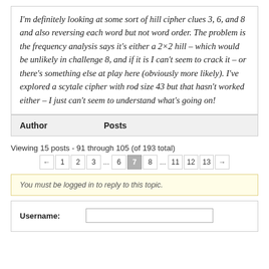I'm definitely looking at some sort of hill cipher clues 3, 6, and 8 and also reversing each word but not word order. The problem is the frequency analysis says it's either a 2×2 hill – which would be unlikely in challenge 8, and if it is I can't seem to crack it – or there's something else at play here (obviously more likely). I've explored a scytale cipher with rod size 43 but that hasn't worked either – I just can't seem to understand what's going on!
| Author | Posts |
| --- | --- |
Viewing 15 posts - 91 through 105 (of 193 total)
← 1 2 3 ... 6 7 8 ... 11 12 13 →
You must be logged in to reply to this topic.
Username: